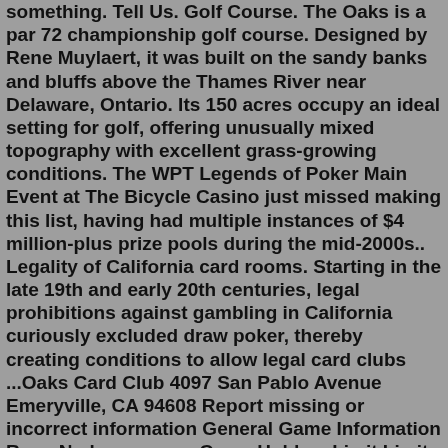something. Tell Us. Golf Course. The Oaks is a par 72 championship golf course. Designed by Rene Muylaert, it was built on the sandy banks and bluffs above the Thames River near Delaware, Ontario. Its 150 acres occupy an ideal setting for golf, offering unusually mixed topography with excellent grass-growing conditions. The WPT Legends of Poker Main Event at The Bicycle Casino just missed making this list, having had multiple instances of $4 million-plus prize pools during the mid-2000s.. Legality of California card rooms. Starting in the late 19th and early 20th centuries, legal prohibitions against gambling in California curiously excluded draw poker, thereby creating conditions to allow legal card clubs ...Oaks Card Club 4097 San Pablo Avenue Emeryville, CA 94608 Report missing or incorrect information General Game Information Runs No longer runs Game Holdem Limit Limit Min Buy-in $300 Max Buy-in No Max Players Per Table 10 Stakes Blinds 15/30 Bet Sizes 30/60 Straddle UTG only Kill None Rake House Rake $5 per hand No Flop Rake No